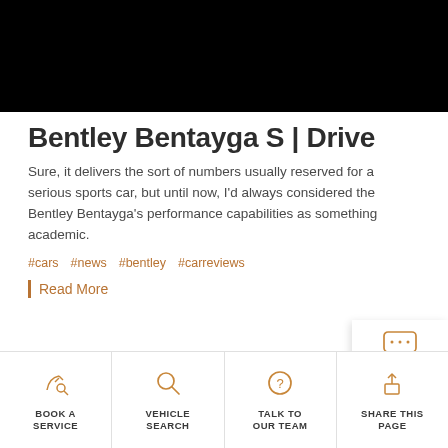[Figure (photo): Black banner image at the top of the page]
Bentley Bentayga S | Drive
Sure, it delivers the sort of numbers usually reserved for a serious sports car, but until now, I'd always considered the Bentley Bentayga's performance capabilities as something academic.
#cars  #news  #bentley  #carreviews
Read More
[Figure (infographic): Chat button with speech bubble icon and CHAT label]
BOOK A SERVICE | VEHICLE SEARCH | TALK TO OUR TEAM | SHARE THIS PAGE